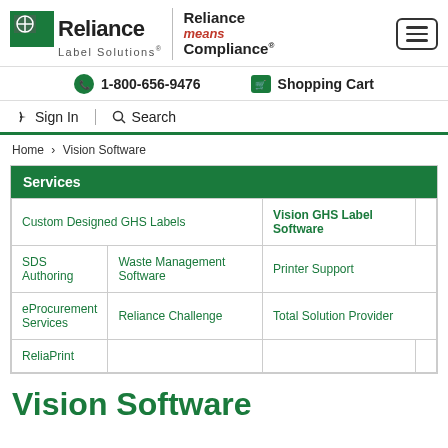[Figure (logo): Reliance Label Solutions logo with green box and crosshair icon, vertical divider, and Reliance means Compliance logo]
1-800-656-9476
Shopping Cart
Sign In
Search
Home > Vision Software
| Services |
| --- |
| Custom Designed GHS Labels | Vision GHS Label Software |  |
| SDS Authoring | Waste Management Software | Printer Support |
| eProcurement Services | Reliance Challenge | Total Solution Provider |
| ReliaPrint |  |  |
Vision Software